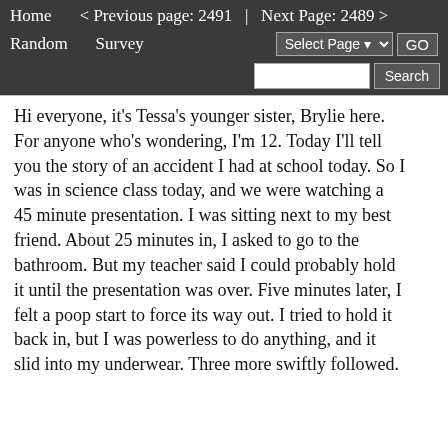Home   < Previous page: 2491  |  Next Page: 2489 >
Random   Survey   Select Page ▾  GO
Search
Hi everyone, it's Tessa's younger sister, Brylie here. For anyone who's wondering, I'm 12. Today I'll tell you the story of an accident I had at school today. So I was in science class today, and we were watching a 45 minute presentation. I was sitting next to my best friend. About 25 minutes in, I asked to go to the bathroom. But my teacher said I could probably hold it until the presentation was over. Five minutes later, I felt a poop start to force its way out. I tried to hold it back in, but I was powerless to do anything, and it slid into my underwear. Three more swiftly followed. I tried to hide what I'd done, but my best friend has a keen eye, and spotted the bulge in my jeans. She whispered in my ear: "Did you just... poop your pants?" My face turned bright red as I said yes. She replied, "Don't worry Brylie. Your secret is safe with me. In fact..." At that point, I heard her start to strain, and then she sighed. I looked at her, and it was evident she had also just released a massive poop into her pants. Luckily, no one else noticed through the rest of the presentation, and when we went to the